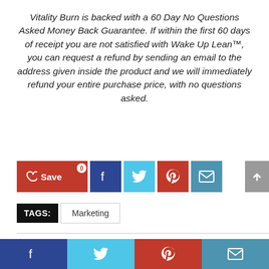Vitality Burn is backed with a 60 Day No Questions Asked Money Back Guarantee. If within the first 60 days of receipt you are not satisfied with Wake Up Lean™, you can request a refund by sending an email to the address given inside the product and we will immediately refund your entire purchase price, with no questions asked.
[Figure (infographic): Social sharing buttons: Save (heart icon, red), Facebook (dark blue), Twitter (light blue), Pinterest (red), Email (blue). A grey scroll-to-top button is on the right edge.]
TAGS: Marketing
Related Articles
[Figure (infographic): Bottom social sharing bar with four buttons: Facebook (dark blue), Twitter (light blue), Pinterest (red), Email (blue).]